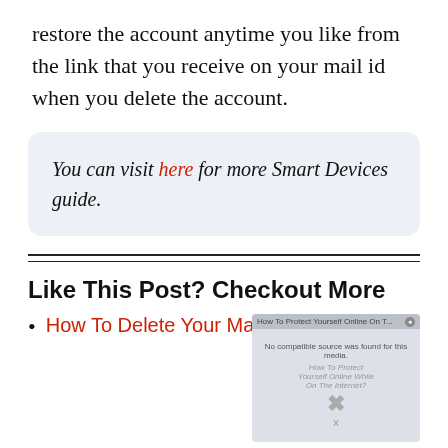restore the account anytime you like from the link that you receive on your mail id when you delete the account.
You can visit here for more Smart Devices guide.
Like This Post? Checkout More
How To Delete Your Match.Com
[Figure (screenshot): Video player overlay showing 'How To Protect Yourself Online On T...' with 'No compatible source was found for this media.' error and an X close icon. Background shows faded text 'How To Protect Yourself Online While On The Internet?']